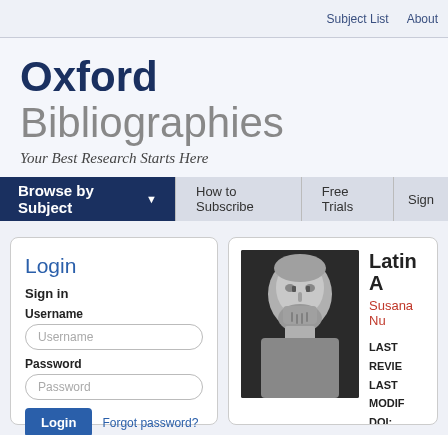Subject List  About
Oxford Bibliographies
Your Best Research Starts Here
Browse by Subject  ▲  How to Subscribe  Free Trials  Sign
Login
Sign in
Username
Password
Forgot password?
[Figure (photo): Black and white photo of an ancient Roman marble bust with beard]
Latin A
Susana Nu
LAST REVIE
LAST MODIF
DOI: 10.1093